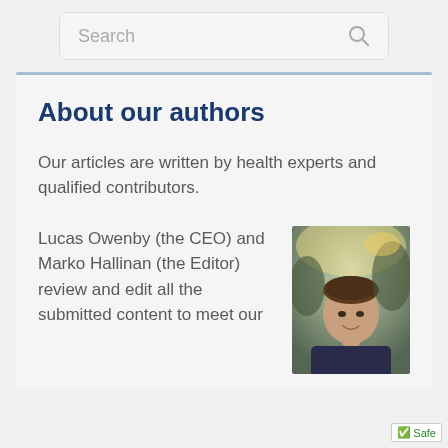[Figure (screenshot): Search bar with placeholder text 'Search' and a search icon on the right]
About our authors
Our articles are written by health experts and qualified contributors.
Lucas Owenby (the CEO) and Marko Hallinan (the Editor) review and edit all the submitted content to meet our
[Figure (photo): Portrait photo of a young man smiling, wearing a dark shirt, outdoors with blurred background]